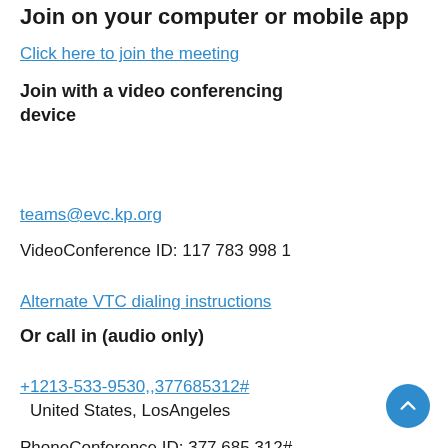Join on your computer or mobile app
Click here to join the meeting
Join with a video conferencing device
teams@evc.kp.org
VideoConference ID: 117 783 998 1
Alternate VTC dialing instructions
Or call in (audio only)
+1213-533-9530,,377685312#
United States, LosAngeles
PhoneConference ID: 377 685 312#